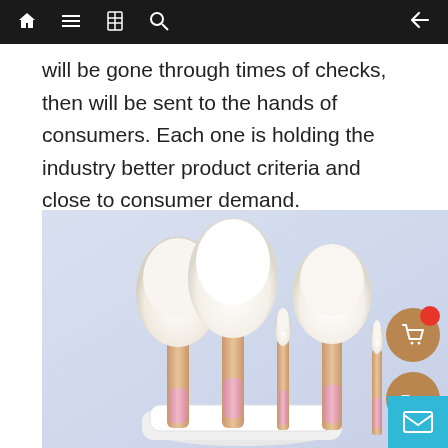Navigation bar with home, menu, book, search icons and back arrow
will be gone through times of checks, then will be sent to the hands of consumers. Each one is holding the industry better product criteria and close to consumer demand.
[Figure (photo): A set of makeup brushes with white fluffy bristles and rose gold/pink handles arranged in a white ceramic cup, photographed against a light lavender-blue background. A shopping cart button and a 'Top' button overlay the image on the right side.]